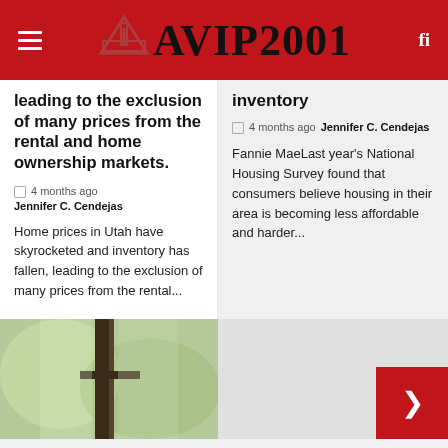AVIP2001
leading to the exclusion of many prices from the rental and home ownership markets.
4 months ago  Jennifer C. Cendejas
Home prices in Utah have skyrocketed and inventory has fallen, leading to the exclusion of many prices from the rental...
inventory
4 months ago  Jennifer C. Cendejas
Fannie MaeLast year's National Housing Survey found that consumers believe housing in their area is becoming less affordable and harder...
[Figure (photo): Close-up photo of a window frame with green blurred background]
[Figure (other): Gray placeholder with red button containing a white icon]